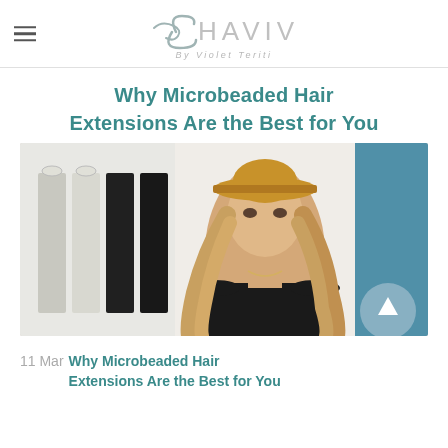CHAVIV By Violet Teriti
Why Microbeaded Hair Extensions Are the Best for You
[Figure (photo): A young blonde woman wearing a tan wide-brim hat and a black strapless top, with long wavy hair extensions, standing near white clothing hangers and a blue background]
11 Mar Why Microbeaded Hair Extensions Are the Best for You